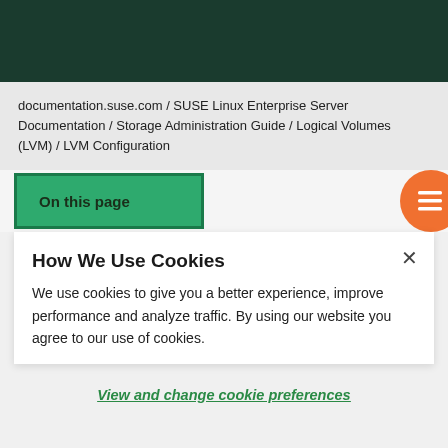documentation.suse.com / SUSE Linux Enterprise Server Documentation / Storage Administration Guide / Logical Volumes (LVM) / LVM Configuration
On this page
How We Use Cookies
We use cookies to give you a better experience, improve performance and analyze traffic. By using our website you agree to our use of cookies.
View and change cookie preferences